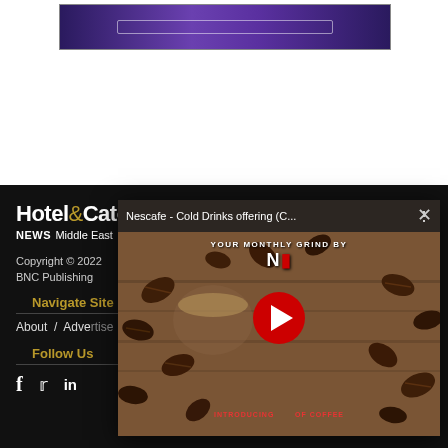[Figure (screenshot): Purple/violet banner advertisement at top of page with a centered lighter bar element]
[Figure (screenshot): Website footer section on black background showing Hotel&Catering News Middle East logo, copyright 2022, BNC Publishing, Navigate Site section with About and Advertising links, Follow Us section with Facebook, Twitter, LinkedIn social icons]
[Figure (screenshot): YouTube video overlay popup showing 'Nescafe - Cold Drinks offering (C...' with coffee beans background, play button, YOUR MONTHLY GRIND BY NESCAFE text, INTRODUCING CUP OF COFFEE text, X close button in top right]